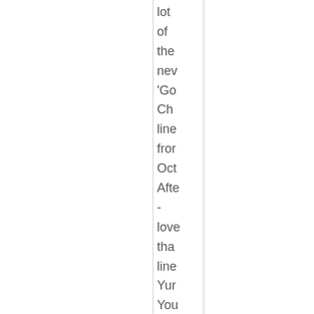lot of the new 'Go Ch line from Oct Afte - love tha line Yur You can see a large pho and mo